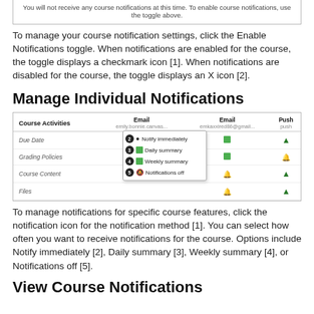[Figure (screenshot): Screenshot showing notification disabled message: 'You will not receive any course notifications at this time. To enable course notifications, use the toggle above.']
To manage your course notification settings, click the Enable Notifications toggle. When notifications are enabled for the course, the toggle displays a checkmark icon [1]. When notifications are disabled for the course, the toggle displays an X icon [2].
Manage Individual Notifications
[Figure (screenshot): Screenshot of course notification management table showing Course Activities (Due Date, Grading Policies, Course Content, Files) with Email and Push columns, and a dropdown menu with options: [1] notification icon, [2] Notify immediately, [3] Daily summary, [4] Weekly summary, [5] Notifications off]
To manage notifications for specific course features, click the notification icon for the notification method [1]. You can select how often you want to receive notifications for the course. Options include Notify immediately [2], Daily summary [3], Weekly summary [4], or Notifications off [5].
View Course Notifications